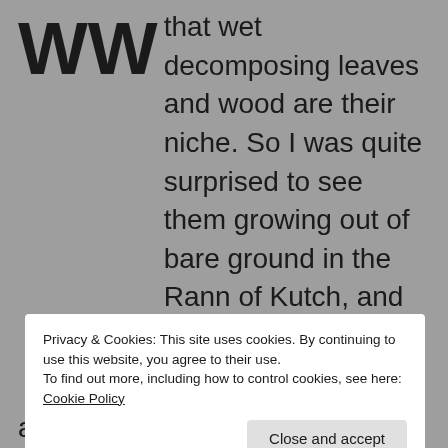WW that wet decomposing leaves and wood are their niche. So I was quite surprised to see them growing out of bare ground in the Rann of Kutch, and almost completely ignoring the few twigs and leaves nearby. A couple of weeks later, I saw the same varieties at the edge of the Thar desert. The Rann is part of the Thar desert, so the commonality did not surprise me. But seeing mushrooms in that
Privacy & Cookies: This site uses cookies. By continuing to use this website, you agree to their use.
To find out more, including how to control cookies, see here: Cookie Policy
Close and accept
arid which